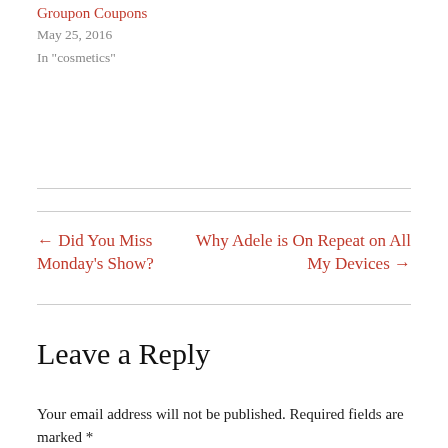Groupon Coupons
May 25, 2016
In "cosmetics"
← Did You Miss Monday's Show?
Why Adele is On Repeat on All My Devices →
Leave a Reply
Your email address will not be published. Required fields are marked *